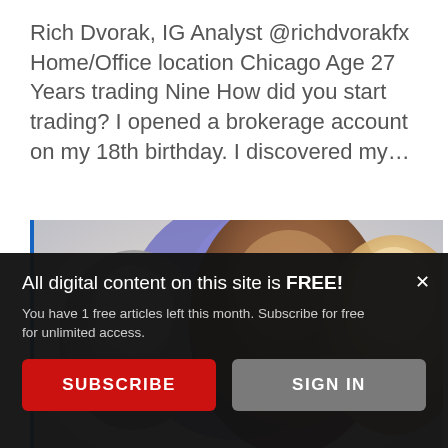Rich Dvorak, IG Analyst @richdvorakfx Home/Office location Chicago Age 27 Years trading Nine How did you start trading? I opened a brokerage account on my 18th birthday. I discovered my…
[Figure (photo): Three smiling people: a black-and-white photo of a woman on the left, a young Black man in the center, and a blonde woman on the right, overlaid with colorful abstract paint spots in red, blue, and purple.]
All digital content on this site is FREE!
You have 1 free articles left this month. Subscribe for free for unlimited access.
SUBSCRIBE
SIGN IN